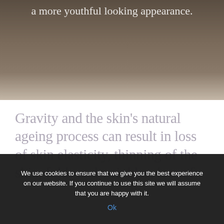[Figure (photo): Dark-toned hero image of a person's face/neck area with overlaid white text reading 'a more youthful looking appearance.']
Gravity and the skin’s natural ageing process can result in loss of skin elasticity, thinning of the skin, folds and wrinkles, loss of
We use cookies to ensure that we give you the best experience on our website. If you continue to use this site we will assume that you are happy with it.
Ok